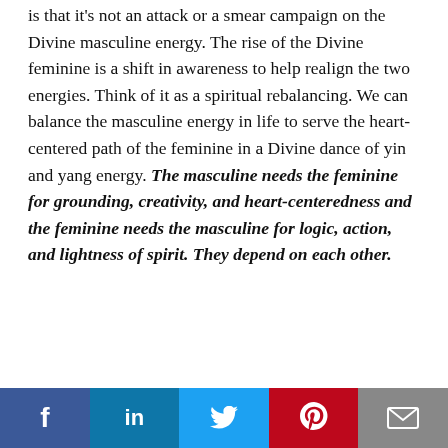is that it's not an attack or a smear campaign on the Divine masculine energy. The rise of the Divine feminine is a shift in awareness to help realign the two energies. Think of it as a spiritual rebalancing. We can balance the masculine energy in life to serve the heart-centered path of the feminine in a Divine dance of yin and yang energy. The masculine needs the feminine for grounding, creativity, and heart-centeredness and the feminine needs the masculine for logic, action, and lightness of spirit. They depend on each other.